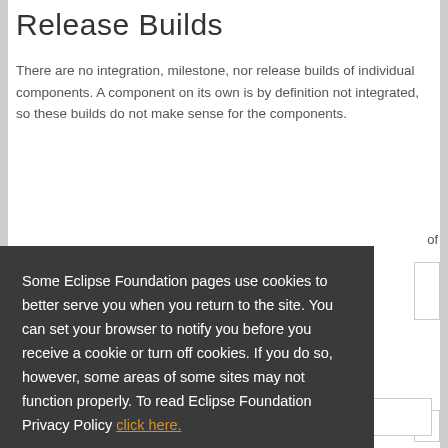Release Builds
There are no integration, milestone, nor release builds of individual components. A component on its own is by definition not integrated, so these builds do not make sense for the components.
Some Eclipse Foundation pages use cookies to better serve you when you return to the site. You can set your browser to notify you before you receive a cookie or turn off cookies. If you do so, however, some areas of some sites may not function properly. To read Eclipse Foundation Privacy Policy click here.
Decline
Allow cookies